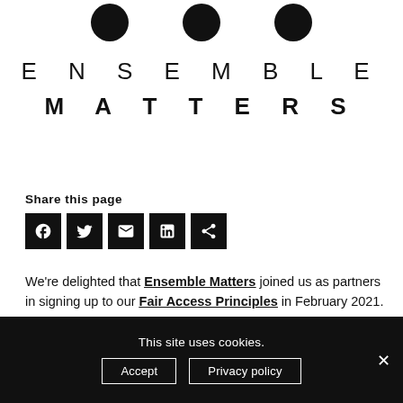[Figure (logo): Ensemble Matters logo: three black circles above the text ENSEMBLE MATTERS in large spaced uppercase letters]
Share this page
[Figure (infographic): Five social share icon buttons (Facebook, Twitter, Email, LinkedIn, Share) as white icons on black square backgrounds]
We're delighted that Ensemble Matters joined us as partners in signing up to our Fair Access Principles in February 2021.
This site uses cookies.
Accept   Privacy policy